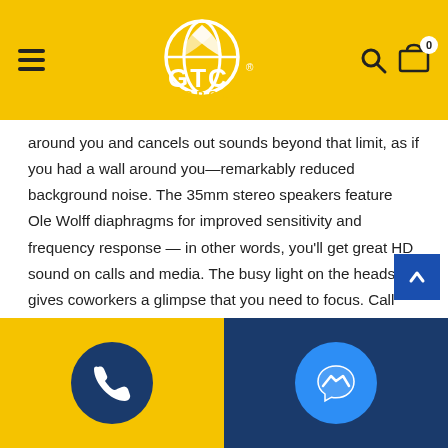GTC Group
around you and cancels out sounds beyond that limit, as if you had a wall around you—remarkably reduced background noise. The 35mm stereo speakers feature Ole Wolff diaphragms for improved sensitivity and frequency response — in other words, you'll get great HD sound on calls and media. The busy light on the headset gives coworkers a glimpse that you need to focus. Call control on the headset means you'll never have to search when you need to answer a call or adjust the volume. The Yealink BH72 Lite Teams headset is ideal if you use Microsoft Teams a lot and want to be able to move freely during
[Figure (screenshot): Back to top button, blue square with upward arrow]
[Figure (screenshot): Phone call button, dark blue circle with white phone icon]
[Figure (screenshot): Messenger button, blue circle with white lightning bolt/messenger icon]